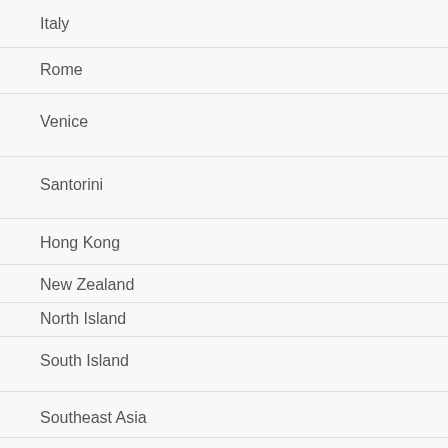Italy
Rome
Venice
Santorini
Hong Kong
New Zealand
North Island
South Island
Southeast Asia
Cambodia
Siem Reap